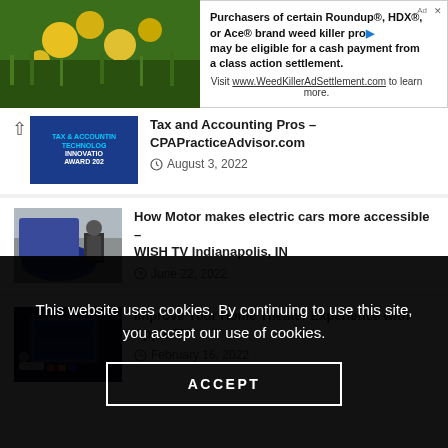[Figure (screenshot): Advertisement banner: yellow flowers image on left, text about Roundup/HDX/Ace weed killer class action settlement on right, with WeedKillerAdSettlement.com URL]
Tax and Accounting Pros – CPAPracticeAdvisor.com
August 3, 2022
[Figure (photo): Photo of a blue electric car with two people standing beside it in a parking lot]
How Motor makes electric cars more accessible – WISH TV Indianapolis, IN
June 22, 2022
[Figure (photo): Photo of a hand holding an Apple TV remote in front of a television screen showing sports content]
Improve Your Home Theater Experience with Apple TV
February 16, 2022
This website uses cookies. By continuing to use this site, you accept our use of cookies.
ACCEPT